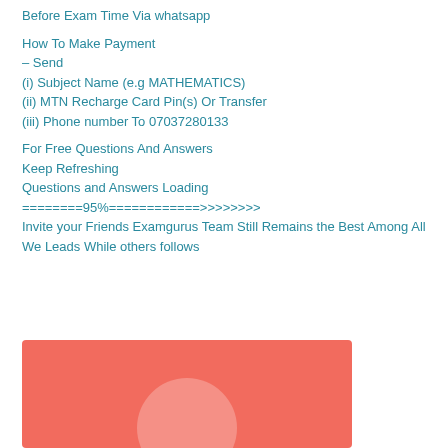Before Exam Time Via whatsapp
How To Make Payment
– Send
(i) Subject Name (e.g MATHEMATICS)
(ii) MTN Recharge Card Pin(s) Or Transfer
(iii) Phone number To 07037280133
For Free Questions And Answers
Keep Refreshing
Questions and Answers Loading
========95%============>>>>>>>>
Invite your Friends Examgurus Team Still Remains the Best Among All
We Leads While others follows
[Figure (illustration): Salmon/coral red colored rectangular image with a white circular shape at the bottom center, likely a logo or decorative element for Examgurus.]